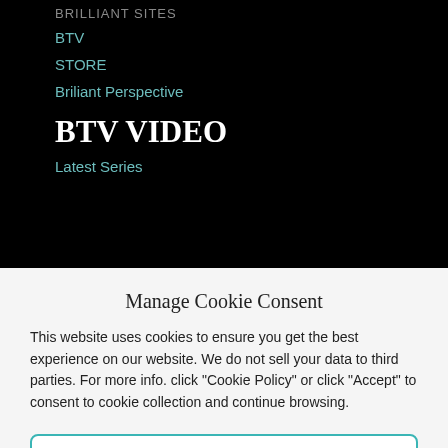BRILLIANT SITES
BTV
STORE
Briliant Perspective
BTV VIDEO
Latest Series
Manage Cookie Consent
This website uses cookies to ensure you get the best experience on our website. We do not sell your data to third parties. For more info. click "Cookie Policy" or click "Accept" to consent to cookie collection and continue browsing.
Accept